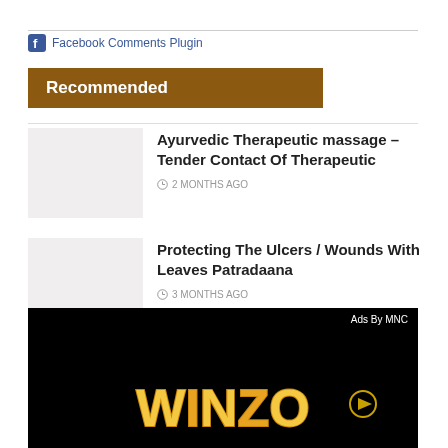Facebook Comments Plugin
Recommended
Ayurvedic Therapeutic massage – Tender Contact Of Therapeutic
2 MONTHS AGO
Protecting The Ulcers / Wounds With Leaves Patradaana
3 MONTHS AGO
[Figure (screenshot): Advertisement banner with WINZO logo in gold text on black background, labeled 'Ads By MNC']